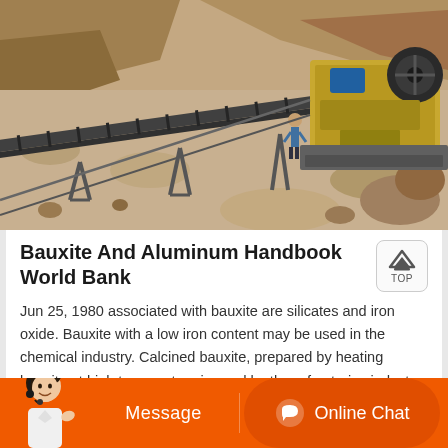[Figure (photo): Aerial view of a mining/quarry site with a conveyor belt system and jaw crusher machinery. Workers visible near large industrial equipment on rocky/sandy terrain.]
Bauxite And Aluminum Handbook World Bank
Jun 25, 1980 associated with bauxite are silicates and iron oxide. Bauxite with a low iron content may be used in the chemical industry. Calcined bauxite, prepared by heating bauxite at high temperature is used by the refractories industry and to make intermediate abrasive products. 3. Alumina, is aluminum oxide…